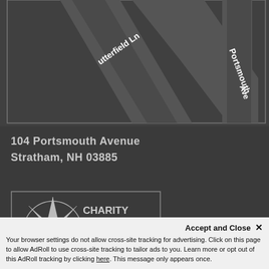[Figure (map): Street map showing Butterfield Ln and Portsmouth Ave intersection on a dark background]
104 Portsmouth Avenue
Stratham, NH 03885
[Figure (logo): Charity Navigator Four Star Charity logo with compass star graphic and four stars]
Accept and Close ×
Your browser settings do not allow cross-site tracking for advertising. Click on this page to allow AdRoll to use cross-site tracking to tailor ads to you. Learn more or opt out of this AdRoll tracking by clicking here. This message only appears once.